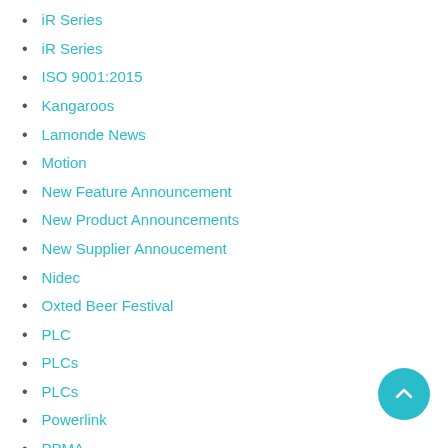iR Series
iR Series
ISO 9001:2015
Kangaroos
Lamonde News
Motion
New Feature Announcement
New Product Announcements
New Supplier Annoucement
Nidec
Oxted Beer Festival
PLC
PLCs
PLCs
Powerlink
PPMA
PPMA
Product News
Productivity 1000
Productivity 2000
Productivity 2000
Productivity 3000